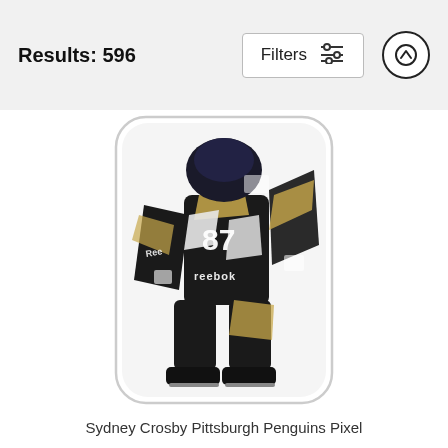Results: 596
[Figure (screenshot): Phone case product image showing a hockey player in Pittsburgh Penguins jersey number 87 (Sydney Crosby) in a pixel/pop art style, black white and gold colors, with Reebok branding visible. The case has rounded corners.]
Sydney Crosby Pittsburgh Penguins Pixel